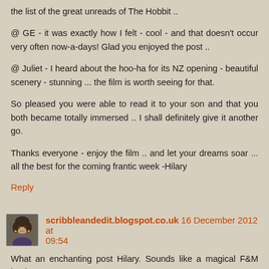the list of the great unreads of The Hobbit ..
@ GE - it was exactly how I felt - cool - and that doesn't occur very often now-a-days! Glad you enjoyed the post ..
@ Juliet - I heard about the hoo-ha for its NZ opening - beautiful scenery - stunning ... the film is worth seeing for that.
So pleased you were able to read it to your son and that you both became totally immersed .. I shall definitely give it another go.
Thanks everyone - enjoy the film .. and let your dreams soar ... all the best for the coming frantic week -Hilary
Reply
scribbleandedit.blogspot.co.uk 16 December 2012 at 09:54
What an enchanting post Hilary. Sounds like a magical F&M basket...